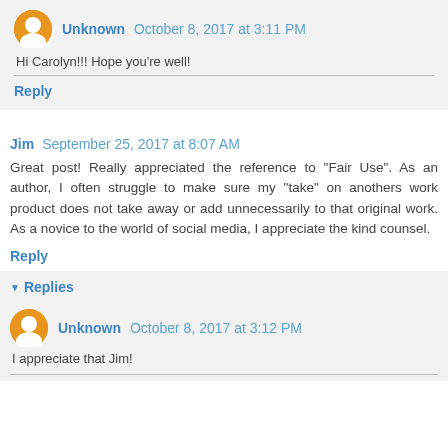Unknown  October 8, 2017 at 3:11 PM
Hi Carolyn!!! Hope you're well!
Reply
Jim  September 25, 2017 at 8:07 AM
Great post! Really appreciated the reference to "Fair Use". As an author, I often struggle to make sure my "take" on anothers work product does not take away or add unnecessarily to that original work. As a novice to the world of social media, I appreciate the kind counsel.
Reply
Replies
Unknown  October 8, 2017 at 3:12 PM
I appreciate that Jim!